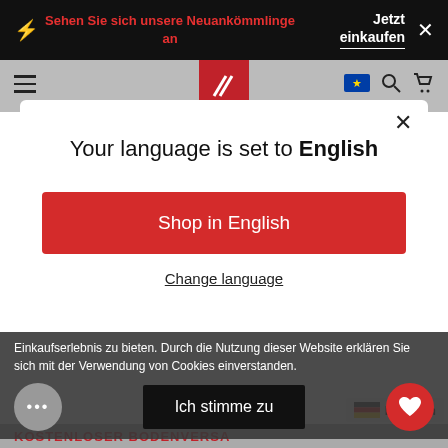Sehen Sie sich unsere Neuankömmlinge an | Jetzt einkaufen
[Figure (screenshot): Website navigation bar with hamburger menu, red logo, EU flag icon, search icon, cart icon]
Your language is set to English
Shop in English
Change language
Einkaufserlebnis zu bieten. Durch die Nutzung dieser Website erklären Sie sich mit der Verwendung von Cookies einverstanden.
Ich stimme zu
KOSTENLOSER BODENVERSA...
Deutsch